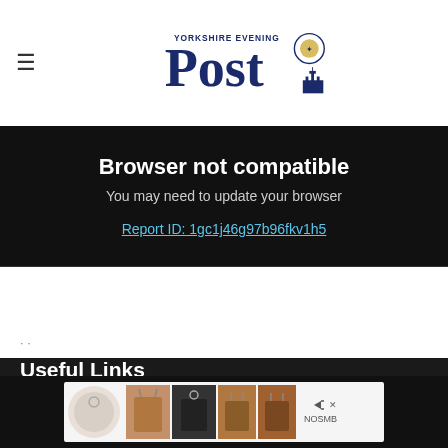≡  Yorkshire Evening Post [logo]
Browser not compatible
You may need to update your browser
Report ID: 1gc1j46g97b96fkv1h5
Useful Links
Contact Us
Advertise My Business
Advertise a Job
Place your Ad
Subscribe
Events
Newsletter
Archive
Readers Charter
[Figure (screenshot): Advertisement banner showing handbags and accessories]